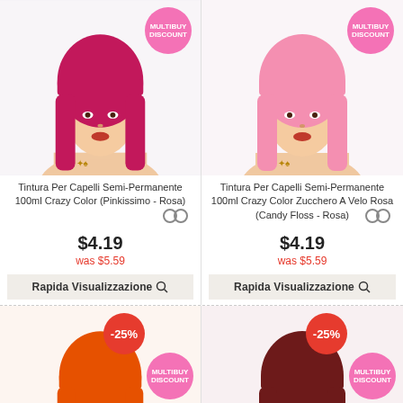[Figure (photo): Woman with magenta/pink hair, hair dye product photo with MULTIBUY DISCOUNT badge]
Tintura Per Capelli Semi-Permanente 100ml Crazy Color (Pinkissimo - Rosa)
$4.19
was $5.59
Rapida Visualizzazione 🔍
[Figure (photo): Woman with light pink hair, hair dye product photo with MULTIBUY DISCOUNT badge]
Tintura Per Capelli Semi-Permanente 100ml Crazy Color Zucchero A Velo Rosa (Candy Floss - Rosa)
$4.19
was $5.59
Rapida Visualizzazione 🔍
[Figure (photo): Woman with orange hair, hair dye product photo with -25% discount badge and MULTIBUY DISCOUNT badge]
[Figure (photo): Woman with dark red/burgundy hair, hair dye product photo with -25% discount badge and MULTIBUY DISCOUNT badge]